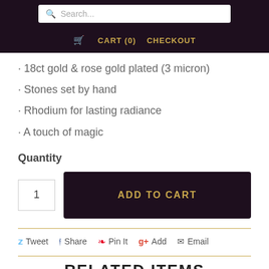Search... | CART (0) | CHECKOUT
· 18ct gold & rose gold plated (3 micron)
· Stones set by hand
· Rhodium for lasting radiance
· A touch of magic
Quantity
1   ADD TO CART
Tweet  Share  Pin It  Add  Email
RELATED ITEMS